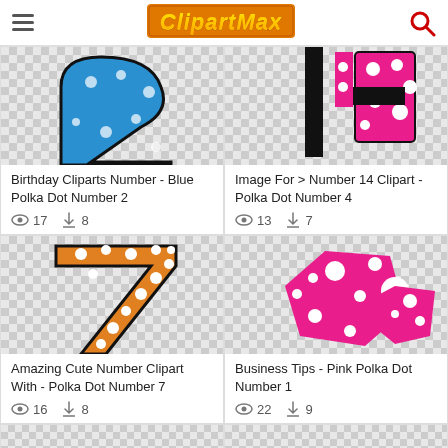ClipartMax
[Figure (illustration): Blue polka dot number 2 clipart on checkered background]
Birthday Cliparts Number - Blue Polka Dot Number 2
17 views, 8 downloads
[Figure (illustration): Pink polka dot number on checkered background]
Image For > Number 14 Clipart - Polka Dot Number 4
13 views, 7 downloads
[Figure (illustration): Orange polka dot number 7 clipart on checkered background]
Amazing Cute Number Clipart With - Polka Dot Number 7
16 views, 8 downloads
[Figure (illustration): Pink polka dot number 1 clipart on checkered background]
Business Tips - Pink Polka Dot Number 1
22 views, 9 downloads
[Figure (illustration): Partial clipart visible at bottom left]
[Figure (illustration): Partial clipart visible at bottom right]